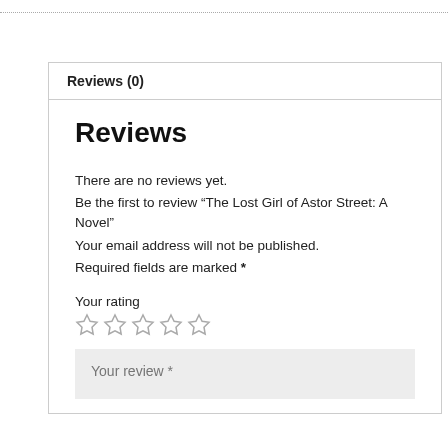Reviews (0)
Reviews
There are no reviews yet.
Be the first to review “The Lost Girl of Astor Street: A Novel”
Your email address will not be published.
Required fields are marked *
Your rating
[Figure (other): Five empty star rating icons in a row]
Your review *